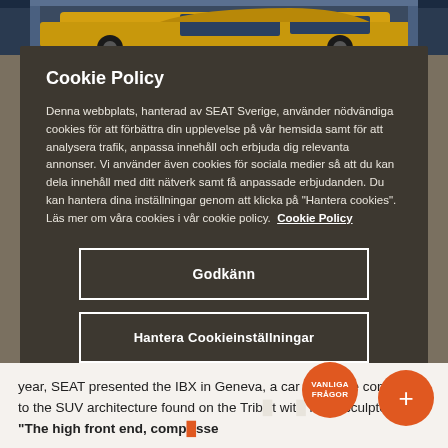[Figure (photo): Photo of a yellow SUV car at the top of the page, partially visible]
Cookie Policy
Denna webbplats, hanterad av SEAT Sverige, använder nödvändiga cookies för att förbättra din upplevelse på vår hemsida samt för att analysera trafik, anpassa innehåll och erbjuda dig relevanta annonser. Vi använder även cookies för sociala medier så att du kan dela innehåll med ditt nätverk samt få anpassade erbjudanden. Du kan hantera dina inställningar genom att klicka på "Hantera cookies". Läs mer om våra cookies i vår cookie policy.  Cookie Policy
Godkänn
Hantera Cookieinställningar
year, SEAT presented the IBX in Geneva, a car that gave continuity to the SUV architecture found on the Trib  t wit  more sculpted lines. "The high front end, comp  sse